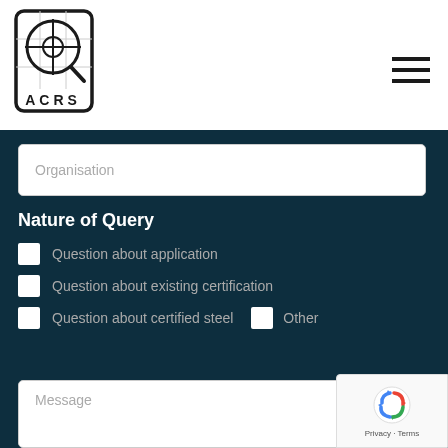[Figure (logo): ACRS logo — a square with rounded corners containing a target/crosshair symbol over a grid, with the letters ACRS below]
Organisation
Nature of Query
Question about application
Question about existing certification
Question about certified steel   Other
Message